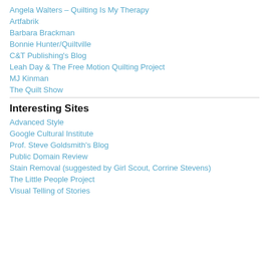Angela Walters – Quilting Is My Therapy
Artfabrik
Barbara Brackman
Bonnie Hunter/Quiltville
C&T Publishing's Blog
Leah Day & The Free Motion Quilting Project
MJ Kinman
The Quilt Show
Interesting Sites
Advanced Style
Google Cultural Institute
Prof. Steve Goldsmith's Blog
Public Domain Review
Stain Removal (suggested by Girl Scout, Corrine Stevens)
The Little People Project
Visual Telling of Stories